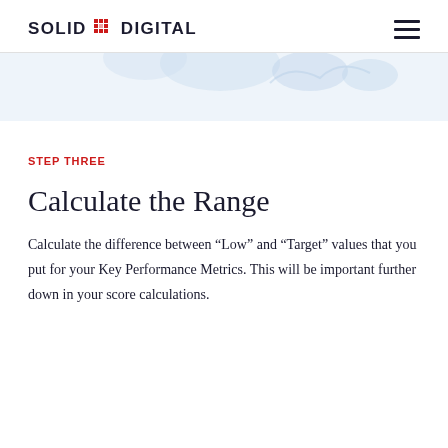SOLID DIGITAL
[Figure (illustration): Decorative light blue background illustration with faint shapes suggesting data/metrics graphics]
STEP THREE
Calculate the Range
Calculate the difference between “Low” and “Target” values that you put for your Key Performance Metrics. This will be important further down in your score calculations.